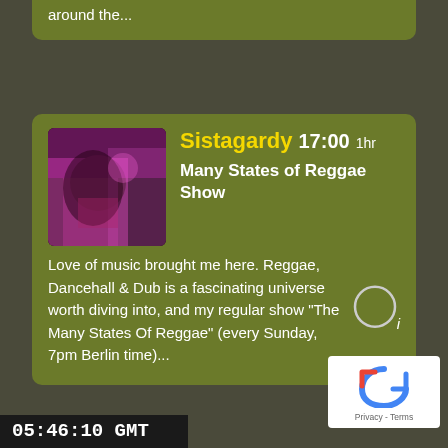around the...
Sistagardy  17:00  1hr
Many States of Reggae Show
Love of music brought me here. Reggae, Dancehall & Dub is a fascinating universe worth diving into, and my regular show "The Many States Of Reggae" (every Sunday, 7pm Berlin time)...
[Figure (screenshot): reCAPTCHA widget with Privacy and Terms links]
05:46:10  GMT